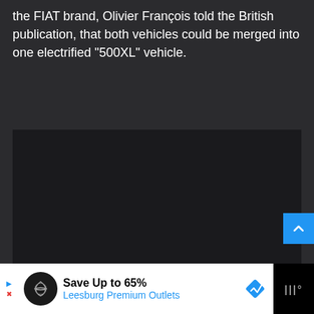the FIAT brand, Olivier François told the British publication, that both vehicles could be merged into one electrified "500XL" vehicle.
[Figure (photo): Dark/black image area, content not visible]
Save Up to 65% Leesburg Premium Outlets